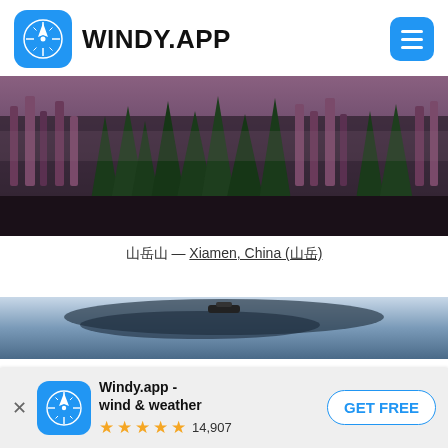WINDY.APP
[Figure (photo): Aerial photo of a dense forest with dark green conifers and purple/red-toned deciduous trees in winter, misty atmosphere]
📷📷📷 — Xiamen, China (📷📷)
[Figure (photo): Partial view of a stormy sky with dark clouds, showing the top portion of a weather scene]
[Figure (logo): Windy.app app icon - blue rounded square with wind/compass rose symbol]
Windy.app - wind & weather
★★★★★ 14,907
GET FREE